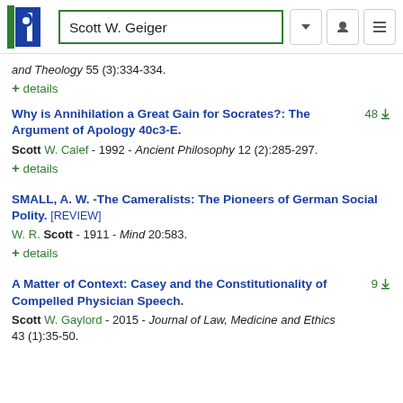Scott W. Geiger
and Theology 55 (3):334-334.
+ details
Why is Annihilation a Great Gain for Socrates?: The Argument of Apology 40c3-E.
Scott W. Calef - 1992 - Ancient Philosophy 12 (2):285-297.
+ details
SMALL, A. W. -The Cameralists: The Pioneers of German Social Polity. [REVIEW]
W. R. Scott - 1911 - Mind 20:583.
+ details
A Matter of Context: Casey and the Constitutionality of Compelled Physician Speech.
Scott W. Gaylord - 2015 - Journal of Law, Medicine and Ethics 43 (1):35-50.